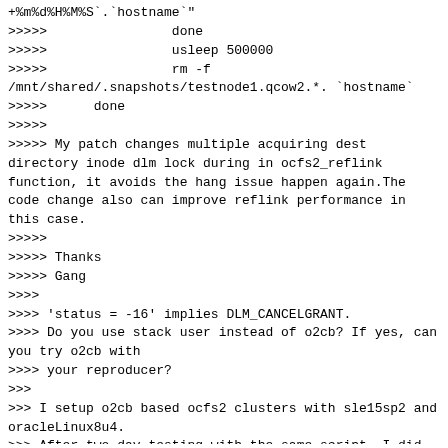+%m%d%H%M%S`.`hostname`"
>>>>> done
>>>>> usleep 500000
>>>>> rm -f
/mnt/shared/.snapshots/testnode1.qcow2.*. `hostname`
>>>>> done
>>>>>
>>>>> My patch changes multiple acquiring dest directory inode dlm lock during in ocfs2_reflink function, it avoids the hang issue happen again.The code change also can improve reflink performance in this case.
>>>>>
>>>>> Thanks
>>>>> Gang
>>>>
>>>> 'status = -16' implies DLM_CANCELGRANT.
>>>> Do you use stack user instead of o2cb? If yes, can you try o2cb with
>>>> your reproducer?
>>>
>>> I setup o2cb based ocfs2 clusters with sle15sp2 and oracleLinux8u4.
>>> After two day testing with the same script, I did not encounter dlm_lock downconvert failure, the hang issue did not happen.
>>> After my patch was applied, there was not any side effect, the reflink performance was doubled in the case.
>>>